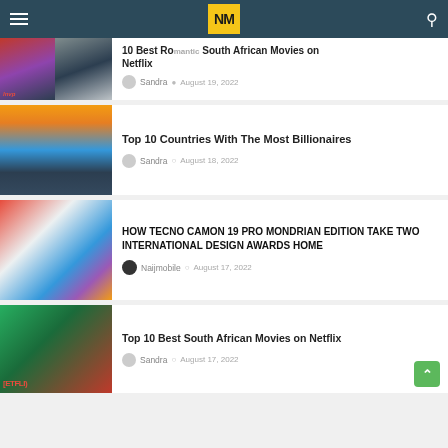NM naijmobile.com — NETFLIX
10 Best Romantic South African Movies on Netflix
Sandra · August 19, 2022
Top 10 Countries With The Most Billionaires
Sandra · August 18, 2022
HOW TECNO CAMON 19 PRO MONDRIAN EDITION TAKE TWO INTERNATIONAL DESIGN AWARDS HOME
Naijmobile · August 17, 2022
Top 10 Best South African Movies on Netflix
Sandra · August 17, 2022